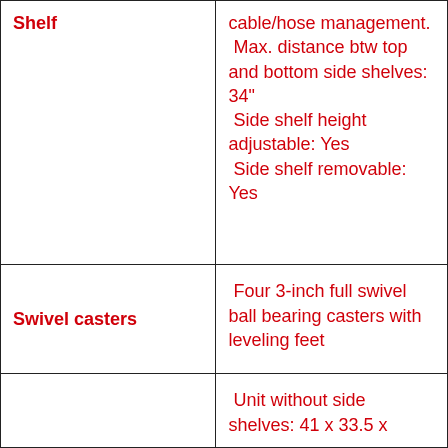| Shelf | cable/hose management.
 Max. distance btw top and bottom side shelves: 34"
 Side shelf height adjustable: Yes
 Side shelf removable: Yes |
| Swivel casters | Four 3-inch full swivel ball bearing casters with leveling feet |
|  | Unit without side shelves: 41 x 33.5 x |